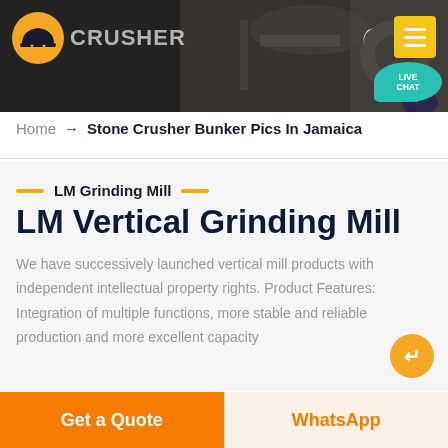[Figure (screenshot): Website header banner with dark background showing mining/crusher equipment, company logo (helmet icon), CRUSHER text, moon/dark mode icon, and yellow hamburger menu button. A teal Live Chat bubble appears at right.]
Home → Stone Crusher Bunker Pics In Jamaica
LM Grinding Mill
LM Vertical Grinding Mill
We have successively launched vertical mill products with independent intellectual property rights. Product Features: Integration of multiple functions, more stable and reliable production and more excellent capacity